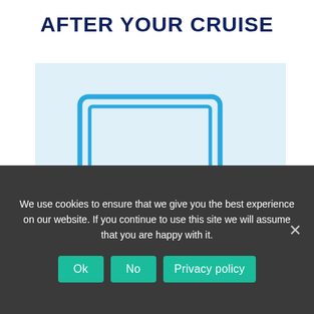AFTER YOUR CRUISE
[Figure (illustration): A desktop computer monitor with a circular blue checkmark badge in the bottom-right corner, drawn in a flat blue line-art style on a light blue background.]
FROM BOOKING ONWARDS
We use cookies to ensure that we give you the best experience on our website. If you continue to use this site we will assume that you are happy with it.